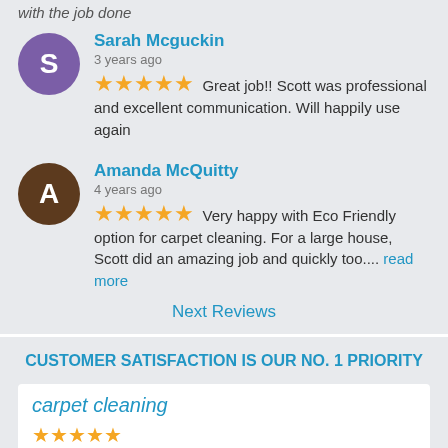with the job done
Sarah Mcguckin
3 years ago
★★★★★ Great job!! Scott was professional and excellent communication. Will happily use again
Amanda McQuitty
4 years ago
★★★★★ Very happy with Eco Friendly option for carpet cleaning. For a large house, Scott did an amazing job and quickly too.... read more
Next Reviews
CUSTOMER SATISFACTION IS OUR NO. 1 PRIORITY
carpet cleaning
★★★★★
"I can't speak highly enough of Scott and the way he transformed my carpet. He was very professional, efficient ...
Read More"